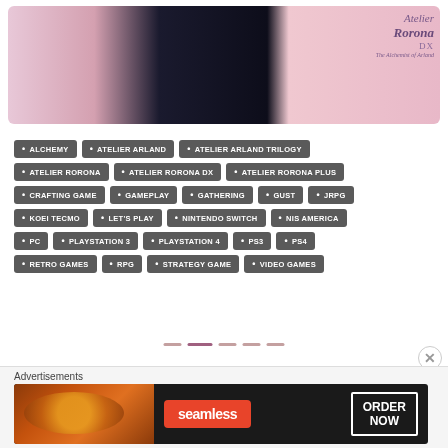[Figure (screenshot): Game banner screenshot showing Atelier Rorona DX - The Alchemist of Arland, with anime character art and game logo]
ALCHEMY
ATELIER ARLAND
ATELIER ARLAND TRILOGY
ATELIER RORONA
ATELIER RORONA DX
ATELIER RORONA PLUS
CRAFTING GAME
GAMEPLAY
GATHERING
GUST
JRPG
KOEI TECMO
LET'S PLAY
NINTENDO SWITCH
NIS AMERICA
PC
PLAYSTATION 3
PLAYSTATION 4
PS3
PS4
RETRO GAMES
RPG
STRATEGY GAME
VIDEO GAMES
Advertisements
[Figure (screenshot): Seamless food delivery advertisement with pizza image, Seamless logo, and ORDER NOW button]